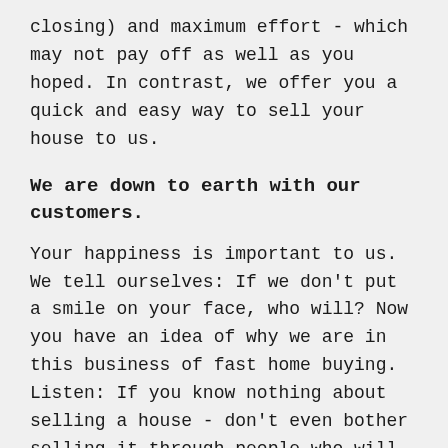closing) and maximum effort - which may not pay off as well as you hoped. In contrast, we offer you a quick and easy way to sell your house to us.
We are down to earth with our customers.
Your happiness is important to us. We tell ourselves: If we don't put a smile on your face, who will? Now you have an idea of why we are in this business of fast home buying. Listen: If you know nothing about selling a house - don't even bother selling it through people who will exploit you at every turn. Instead, come to us; we'll take you by the hand and fill the unforgettable experience with cash in your hand. What more could you wish for?
When you sell your house to BustOffer, you may as well say goodbye to the time spent on property maintenance, repairs and upgrades. We will take these burdens off your shoulders, you will be free to live the comfortable and